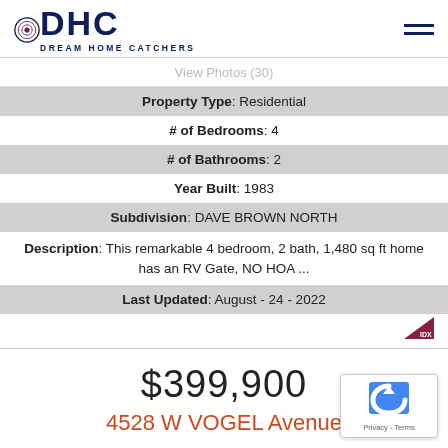DHC DREAM HOME CATCHERS
View Photos (30)
Property Type: Residential
# of Bedrooms: 4
# of Bathrooms: 2
Year Built: 1983
Subdivision: DAVE BROWN NORTH
Description: This remarkable 4 bedroom, 2 bath, 1,480 sq ft home has an RV Gate, NO HOA ...
Last Updated: August - 24 - 2022
[Figure (logo): IDX MLS logo small triangle shape]
$399,900
4528 W VOGEL Avenue